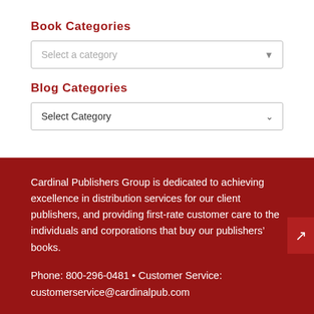Book Categories
Select a category
Blog Categories
Select Category
Cardinal Publishers Group is dedicated to achieving excellence in distribution services for our client publishers, and providing first-rate customer care to the individuals and corporations that buy our publishers’ books.
Phone: 800-296-0481 • Customer Service:
customerservice@cardinalpub.com